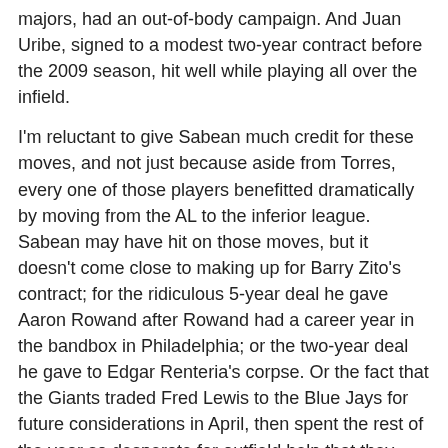majors, had an out-of-body campaign. And Juan Uribe, signed to a modest two-year contract before the 2009 season, hit well while playing all over the infield.
I'm reluctant to give Sabean much credit for these moves, and not just because aside from Torres, every one of those players benefitted dramatically by moving from the AL to the inferior league. Sabean may have hit on those moves, but it doesn't come close to making up for Barry Zito's contract; for the ridiculous 5-year deal he gave Aaron Rowand after Rowand had a career year in the bandbox in Philadelphia; or the two-year deal he gave to Edgar Renteria's corpse. Or the fact that the Giants traded Fred Lewis to the Blue Jays for future considerations in April, then spent the rest of the year so desperate for outfield help that they actually traded for Jose Guillen.
The reason the Giants are in the playoffs isn't because their GM spent money wisely. It's because, simply, they've done a pretty good job of drafting and developing talent.
Posey, we've already covered, although it's worth noting how when the Giants went to acquiring him. The Rays with the...